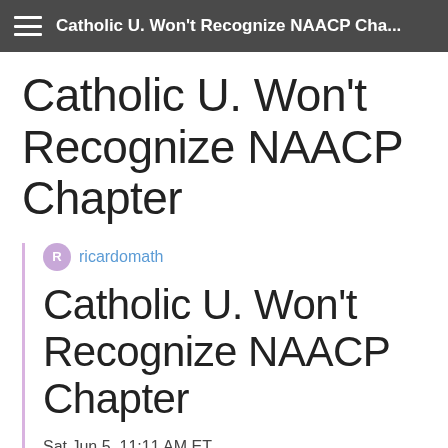Catholic U. Won't Recognize NAACP Cha...
Catholic U. Won't Recognize NAACP Chapter
ricardomath
Catholic U. Won't Recognize NAACP Chapter
Sat Jun 5, 11:11 AM ET
By CANDACE SMITH, Associated Press Writer
[Figure (photo): Broken/missing image placeholder]